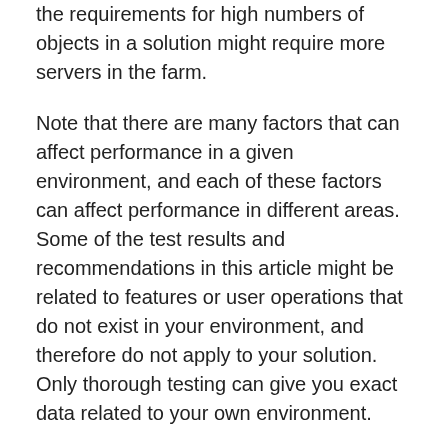the requirements for high numbers of objects in a solution might require more servers in the farm.
Note that there are many factors that can affect performance in a given environment, and each of these factors can affect performance in different areas. Some of the test results and recommendations in this article might be related to features or user operations that do not exist in your environment, and therefore do not apply to your solution. Only thorough testing can give you exact data related to your own environment.
Boundaries, thresholds and supported limits
In SharePoint Server 2010, there are certain limits that are by design and cannot be exceeded, and other limits that are